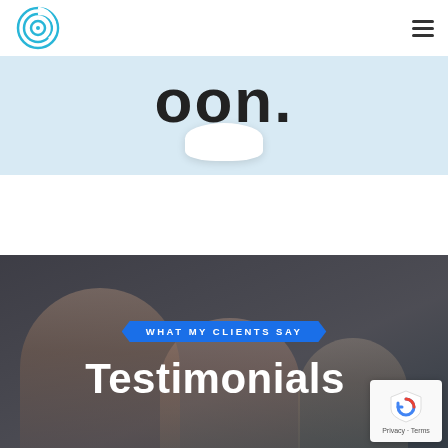[Figure (photo): Partial view of a smart device or product on a light blue background, with partial dark bold text visible at the top]
[Figure (photo): Dark overlay photo of three men in a business/collaborative setting, used as background for testimonials section]
WHAT MY CLIENTS SAY
Testimonials
[Figure (logo): Google reCAPTCHA badge with shield/arrow logo, showing Privacy and Terms text]